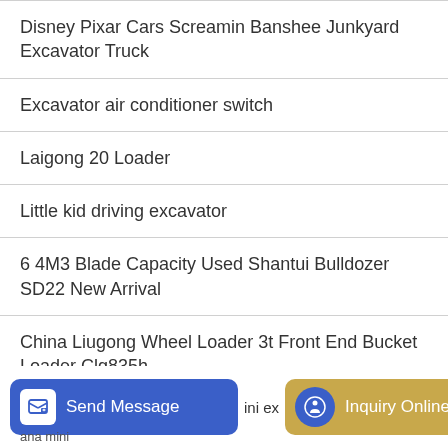Disney Pixar Cars Screamin Banshee Junkyard Excavator Truck
Excavator air conditioner switch
Laigong 20 Loader
Little kid driving excavator
6 4M3 Blade Capacity Used Shantui Bulldozer SD22 New Arrival
China Liugong Wheel Loader 3t Front End Bucket Loader Clg835h
Wide crawler excavator
Send Message | ini ex | Inquiry Online | ana mini